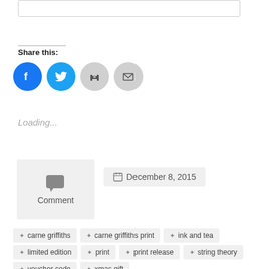[Figure (other): Top rounded rectangle box (partial, cropped at top)]
Share this:
[Figure (other): Social sharing icons: Facebook (blue circle), Twitter (blue circle), Print (grey circle), Email (grey circle)]
Loading...
[Figure (other): Comment button box with speech bubble icon and text 'Comment']
December 8, 2015
carne griffiths
carne griffiths print
ink and tea
limited edition
print
print release
string theory
voucher code
xmas gift